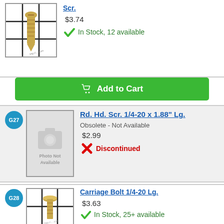[Figure (photo): Product photo of a screw on gridded white background]
Scr.
$3.74
In Stock, 12 available
Add to Cart
G27
[Figure (photo): Photo Not Available placeholder image]
Rd. Hd. Scr. 1/4-20 x 1.88" Lg.
Obsolete - Not Available
$2.99
Discontinued
G28
[Figure (photo): Product photo of a carriage bolt on gridded white background]
Carriage Bolt 1/4-20 Lg.
$3.63
In Stock, 25+ available